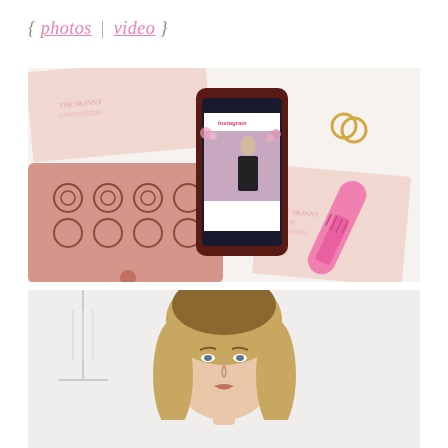{ photos | video }
[Figure (photo): Flat lay photo showing a pink laser-cut wallet/planner, a smartphone with an Instagram photo on screen, gold rings, a pink hairbrush, and pink branded notecards on a white surface]
[Figure (photo): Portrait photo of a blonde woman from shoulders up, looking at the camera, with clothing rack visible in background]